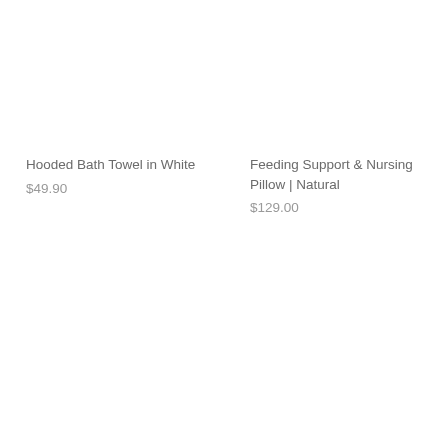Hooded Bath Towel in White
$49.90
Feeding Support & Nursing Pillow | Natural
$129.00